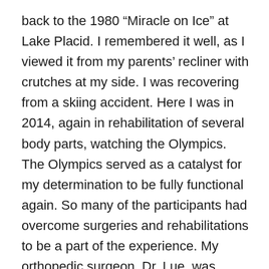back to the 1980 “Miracle on Ice” at Lake Placid. I remembered it well, as I viewed it from my parents’ recliner with crutches at my side. I was recovering from a skiing accident. Here I was in 2014, again in rehabilitation of several body parts, watching the Olympics. The Olympics served as a catalyst for my determination to be fully functional again. So many of the participants had overcome surgeries and rehabilitations to be a part of the experience. My orthopedic surgeon, Dr. Lue, was happy with my progress rehabilitating my elbow, wrist, hand and shoulder. He was pleased that I was ahead of what he expected for that stage of my recovery. I was thrilled to see one of the skiers back racing after recovering from an accident less than a year ago. I commented that’s there’s hope for me after all! Rick was kind enough to point out that she is also forty-seven years younger than me. Minor